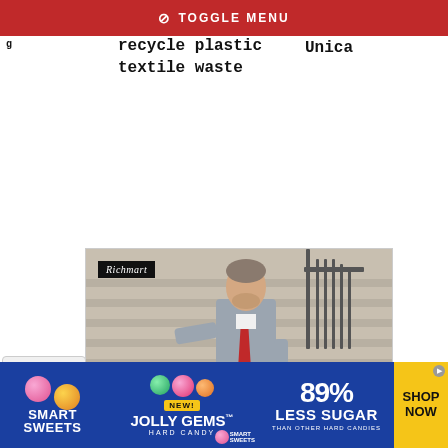TOGGLE MENU
recycle plastic textile waste
Unica
[Figure (photo): Man in grey suit with red tie standing on stone steps next to iron railing, with Richmart logo overlay and 'Start' text at bottom]
[Figure (photo): Smart Sweets advertisement: Jolly Gems Hard Candy, 89% less sugar than other hard candies, Shop Now button]